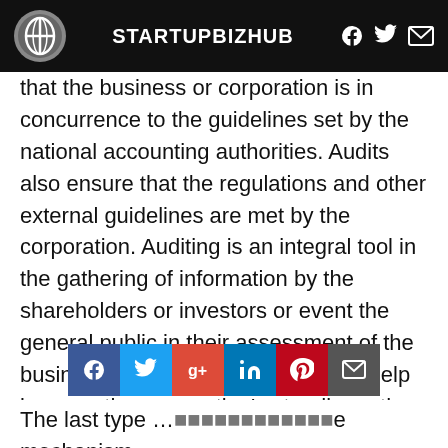STARTUPBIZHUB
that the business or corporation is in concurrence to the guidelines set by the national accounting authorities. Audits also ensure that the regulations and other external guidelines are met by the corporation. Auditing is an integral tool in the gathering of information by the shareholders or investors or event the general public in their assessment of the business or corporation. Audits can help improve the corporation's standing n the business scene. This is because business will be conducted willingly by other company if the companies they will be doing business with have a good track record.
The last type … mechanism